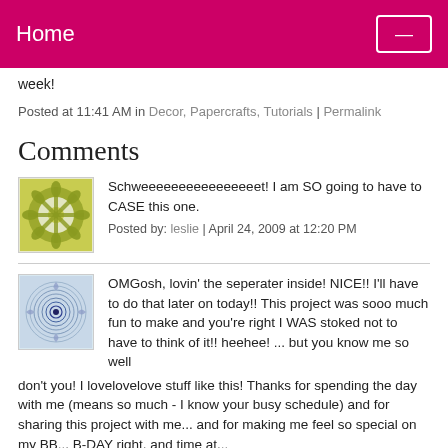Home
Week!
Posted at 11:41 AM in Decor, Papercrafts, Tutorials | Permalink
Comments
[Figure (illustration): Green flower/snowflake pattern avatar icon]
Schweeeeeeeeeeeeeeeet! I am SO going to have to CASE this one.
Posted by: leslie | April 24, 2009 at 12:20 PM
[Figure (illustration): Blue circular spiral/geometric pattern avatar icon]
OMGosh, lovin' the seperater inside! NICE!! I'll have to do that later on today!! This project was sooo much fun to make and you're right I WAS stoked not to have to think of it!! heehee! ... but you know me so well don't you! I lovelovelove stuff like this! Thanks for spending the day with me (means so much - I know your busy schedule) and for sharing this project with me... and for making me feel so special on my BB... B-DAY right, and time at...